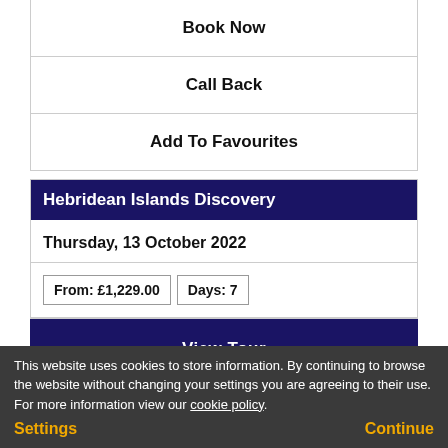Book Now
Call Back
Add To Favourites
Hebridean Islands Discovery
Thursday, 13 October 2022
From: £1,229.00   Days: 7
View Tour
Book Now
Add To Favourites
This website uses cookies to store information. By continuing to browse the website without changing your settings you are agreeing to their use. For more information view our cookie policy.
Settings
Continue